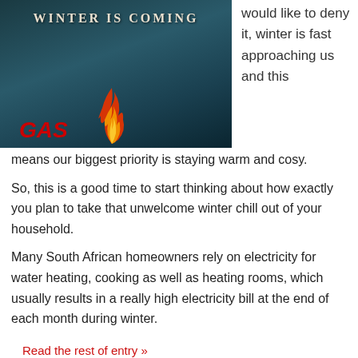[Figure (photo): Dark blue-tinted fantasy/winter themed image with text 'WINTER IS COMING' and a flame/fire graphic overlay, with GAS logo below]
would like to deny it, winter is fast approaching us and this means our biggest priority is staying warm and cosy.
So, this is a good time to start thinking about how exactly you plan to take that unwelcome winter chill out of your household.
Many South African homeowners rely on electricity for water heating, cooking as well as heating rooms, which usually results in a really high electricity bill at the end of each month during winter.
Read the rest of entry »
Season's Greetings - Gas Installers in Cape Town